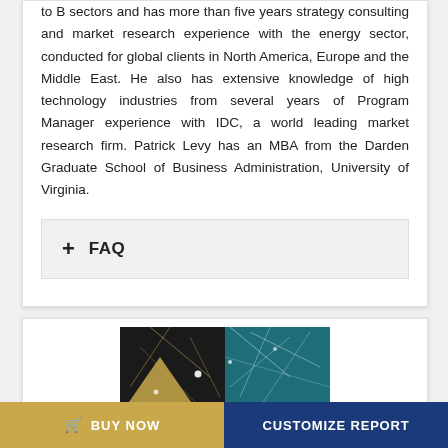to B sectors and has more than five years strategy consulting and market research experience with the energy sector, conducted for global clients in North America, Europe and the Middle East. He also has extensive knowledge of high technology industries from several years of Program Manager experience with IDC, a world leading market research firm. Patrick Levy has an MBA from the Darden Graduate School of Business Administration, University of Virginia.
+ FAQ
[Figure (illustration): Network/connectivity abstract image with gold and teal geometric lines on dark background]
BUY NOW
CUSTOMIZE REPORT